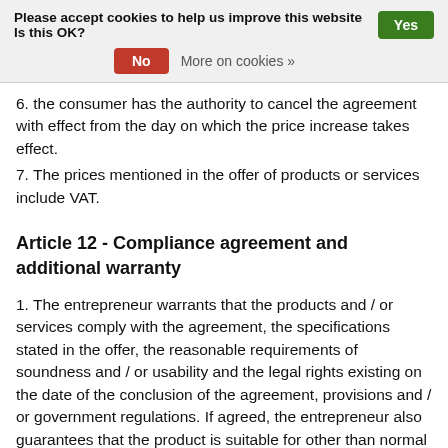Please accept cookies to help us improve this website Is this OK? Yes No More on cookies »
6. the consumer has the authority to cancel the agreement with effect from the day on which the price increase takes effect.
7. The prices mentioned in the offer of products or services include VAT.
Article 12 - Compliance agreement and additional warranty
1. The entrepreneur warrants that the products and / or services comply with the agreement, the specifications stated in the offer, the reasonable requirements of soundness and / or usability and the legal rights existing on the date of the conclusion of the agreement, provisions and / or government regulations. If agreed, the entrepreneur also guarantees that the product is suitable for other than normal use.